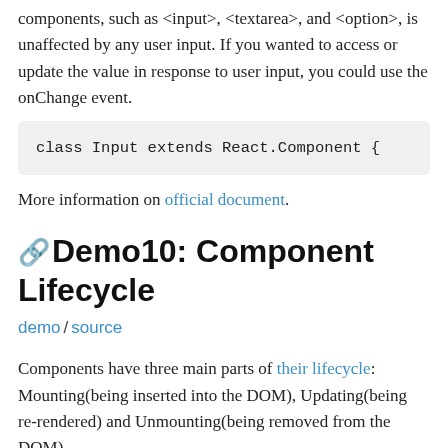components, such as <input>, <textarea>, and <option>, is unaffected by any user input. If you wanted to access or update the value in response to user input, you could use the onChange event.
class Input extends React.Component {
More information on official document.
Demo10: Component Lifecycle
demo / source
Components have three main parts of their lifecycle: Mounting(being inserted into the DOM), Updating(being re-rendered) and Unmounting(being removed from the DOM).